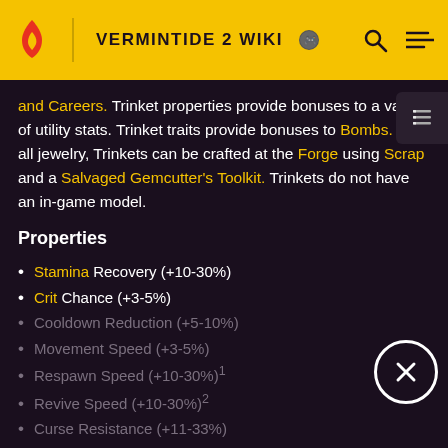VERMINTIDE 2 WIKI
and Careers. Trinket properties provide bonuses to a variety of utility stats. Trinket traits provide bonuses to Bombs. Like all jewelry, Trinkets can be crafted at the Forge using Scrap and a Salvaged Gemcutter's Toolkit. Trinkets do not have an in-game model.
Properties
Stamina Recovery (+10-30%)
Crit Chance (+3-5%)
Cooldown Reduction (+5-10%)
Movement Speed (+3-5%)
Respawn Speed (+10-30%)¹
Revive Speed (+10-30%)²
Curse Resistance (+11-33%)